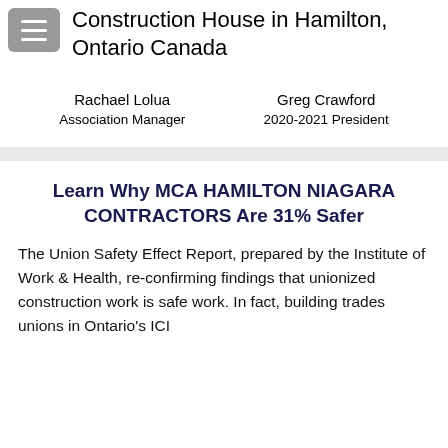Construction House in Hamilton, Ontario Canada
Rachael Lolua
Association Manager
Greg Crawford
2020-2021 President
Learn Why MCA HAMILTON NIAGARA CONTRACTORS Are 31% Safer
The Union Safety Effect Report, prepared by the Institute of Work & Health, re-confirming findings that unionized construction work is safe work. In fact, building trades unions in Ontario's ICI